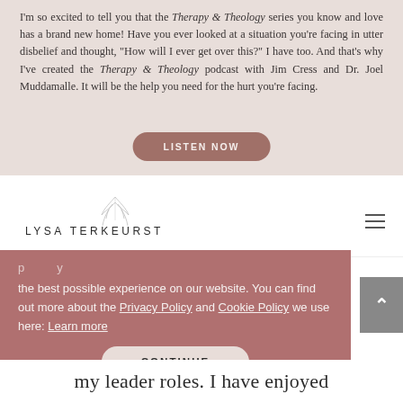I'm so excited to tell you that the Therapy & Theology series you know and love has a brand new home! Have you ever looked at a situation you're facing in utter disbelief and thought, "How will I ever get over this?" I have too. And that's why I've created the Therapy & Theology podcast with Jim Cress and Dr. Joel Muddamalle. It will be the help you need for the hurt you're facing.
LISTEN NOW
[Figure (logo): Lysa TerKeurst logo with decorative leaf/botanical element and text 'LYSA TERKEURST']
the best possible experience on our website. You can find out more about the Privacy Policy and Cookie Policy we use here: Learn more
CONTINUE
my leader roles. I have enjoyed